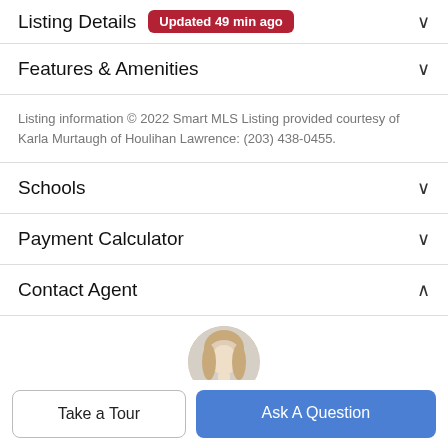Listing Details  Updated 49 min ago
Features & Amenities
Listing information © 2022 Smart MLS Listing provided courtesy of Karla Murtaugh of Houlihan Lawrence: (203) 438-0455.
Schools
Payment Calculator
Contact Agent
[Figure (photo): Circular profile photo of a woman with blonde hair, partially visible at the bottom of the Contact Agent section.]
Take a Tour
Ask A Question